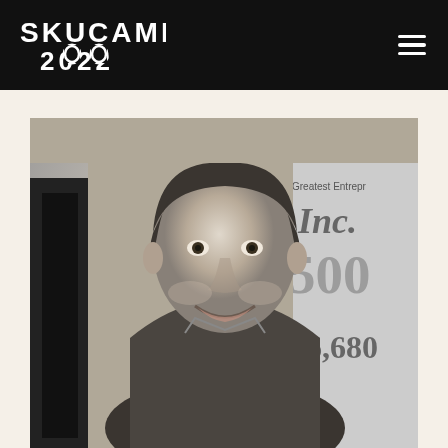SKUCAMP 2022
[Figure (photo): Black and white portrait photo of a smiling man in a blazer, with an Inc. 500 magazine visible in the background showing '36,680' and 'Greatest Entrepreneurs']